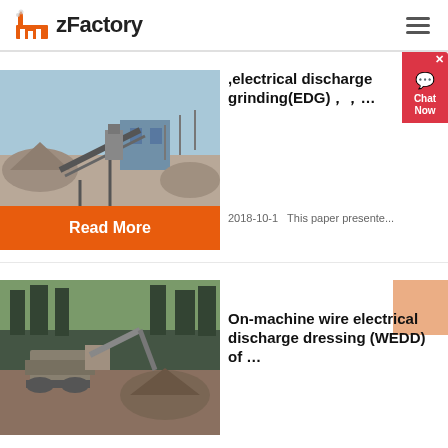zFactory
[Figure (photo): Industrial quarry/crushing plant site with machinery and gravel piles, blue sky background]
,electrical discharge grinding(EDG), , ...
2018-10-1   This paper presente...
Read More
[Figure (photo): Construction or mining site with heavy machinery and dirt terrain]
On-machine wire electrical discharge dressing (WEDD) of ...